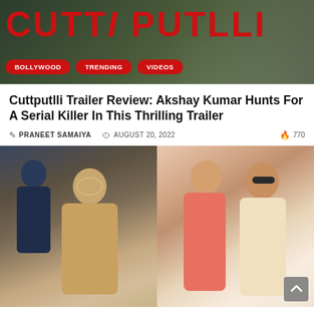[Figure (photo): Banner image for Cuttputlli movie with red title text 'CUTTPUTLLI' and navigation tags for BOLLYWOOD, TRENDING, VIDEOS on a dark greenish background]
Cuttputlli Trailer Review: Akshay Kumar Hunts For A Serial Killer In This Thrilling Trailer
PRANEET SAMAIYA   AUGUST 20, 2022   770
[Figure (photo): Two side-by-side photos: left shows a couple in ethnic wear at an event, right shows another couple laughing at what appears to be a wedding ceremony]